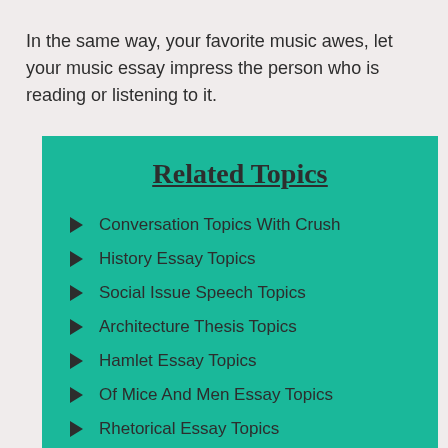In the same way, your favorite music awes, let your music essay impress the person who is reading or listening to it.
Related Topics
Conversation Topics With Crush
History Essay Topics
Social Issue Speech Topics
Architecture Thesis Topics
Hamlet Essay Topics
Of Mice And Men Essay Topics
Rhetorical Essay Topics